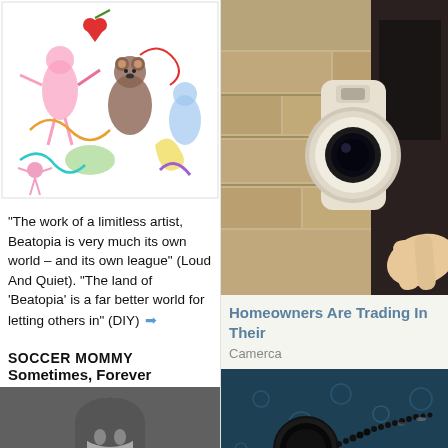[Figure (illustration): Colorful child-like drawing with figures, animals, and abstract shapes on white background — Beatopia album artwork]
"The work of a limitless artist, Beatopia is very much its own world – and its own league" (Loud And Quiet). "The land of 'Beatopia' is a far better world for letting others in" (DIY)
SOCCER MOMMY
Sometimes, Forever
[Figure (photo): Black and white photo of a young woman with long hair, holding something, wearing a dark turtleneck]
"It cements Soccer Mommy as one of the most exciting voices in indie pop" (Albumism). "Serves as a modern mercurial
[Figure (photo): Photo of a doorbell camera mounted on a stone wall near a dark door — homeowner security camera advertisement]
Homeowners Are Trading In Their
Camerca
[Figure (photo): Dark teal/dark blue close-up image of water droplets on a metal zipper with text CAMP LEJ partially visible in gold letters]